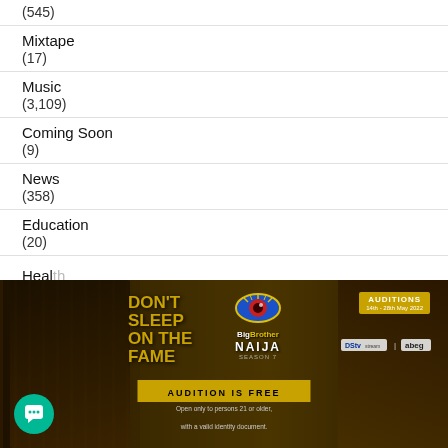(545)
Mixtape
(17)
Music
(3,109)
Coming Soon
(9)
News
(358)
Education
(20)
Health
[Figure (photo): Big Brother Naija Season 7 auditions advertisement banner. Features two people (a man on the left and a woman on the right), with text 'Don't Sleep on the Fame', Big Brother Naija logo with an eye graphic, and 'Auditions' box. Includes sponsor logos for DStv and Abeg, and text 'Audition is Free'. A teal chat button is visible at bottom left.]